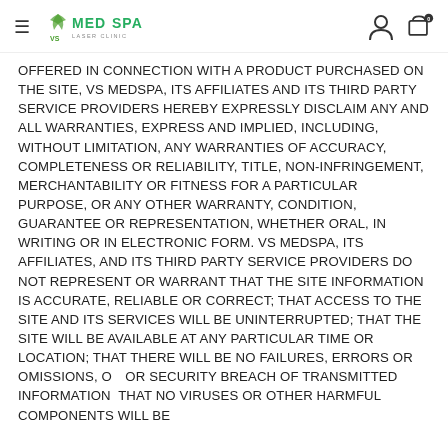VS MedSpa navigation header with hamburger menu, logo, user icon, and cart icon
OFFERED IN CONNECTION WITH A PRODUCT PURCHASED ON THE SITE, VS MEDSPA, ITS AFFILIATES AND ITS THIRD PARTY SERVICE PROVIDERS HEREBY EXPRESSLY DISCLAIM ANY AND ALL WARRANTIES, EXPRESS AND IMPLIED, INCLUDING, WITHOUT LIMITATION, ANY WARRANTIES OF ACCURACY, COMPLETENESS OR RELIABILITY, TITLE, NON-INFRINGEMENT, MERCHANTABILITY OR FITNESS FOR A PARTICULAR PURPOSE, OR ANY OTHER WARRANTY, CONDITION, GUARANTEE OR REPRESENTATION, WHETHER ORAL, IN WRITING OR IN ELECTRONIC FORM. VS MEDSPA, ITS AFFILIATES, AND ITS THIRD PARTY SERVICE PROVIDERS DO NOT REPRESENT OR WARRANT THAT THE SITE INFORMATION IS ACCURATE, RELIABLE OR CORRECT; THAT ACCESS TO THE SITE AND ITS SERVICES WILL BE UNINTERRUPTED; THAT THE SITE WILL BE AVAILABLE AT ANY PARTICULAR TIME OR LOCATION; THAT THERE WILL BE NO FAILURES, ERRORS OR OMISSIONS, OR SECURITY BREACH OF TRANSMITTED INFORMATION; THAT NO VIRUSES OR OTHER HARMFUL COMPONENTS WILL BE